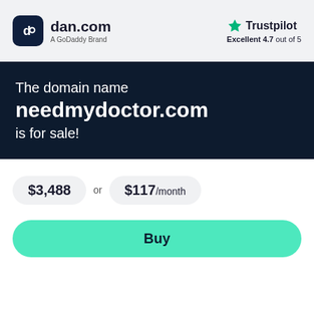[Figure (logo): dan.com logo — dark rounded square icon with 'd' letter, text 'dan.com' and subtitle 'A GoDaddy Brand']
[Figure (logo): Trustpilot logo — green star followed by 'Trustpilot' text, rating 'Excellent 4.7 out of 5']
The domain name needmydoctor.com is for sale!
$3,488 or $117/month
Buy